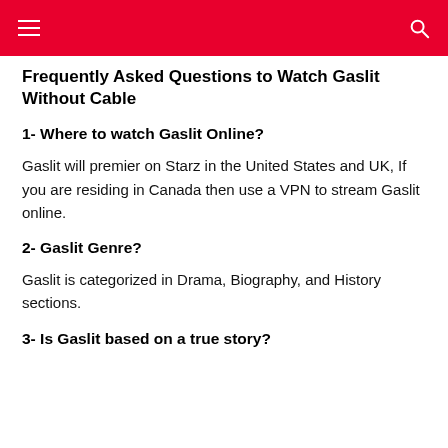Frequently Asked Questions to Watch Gaslit Without Cable
1- Where to watch Gaslit Online?
Gaslit will premier on Starz in the United States and UK, If you are residing in Canada then use a VPN to stream Gaslit online.
2- Gaslit Genre?
Gaslit is categorized in Drama, Biography, and History sections.
3- Is Gaslit based on a true story?